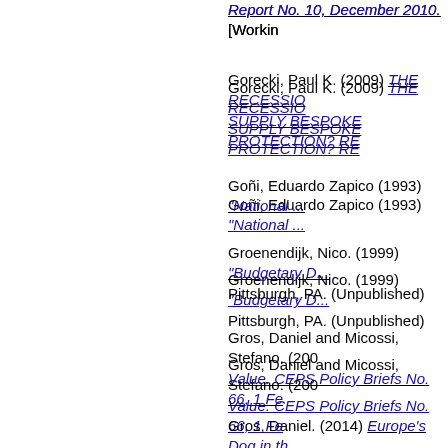Report No. 10, December 2010. [Working Paper]
Gorecki, Paul K. (2009) THE RECESSION AND SUPPLY BESPOKE PROTECTION? RE...
Goñi, Eduardo Zapico (1993) "National ...
Groenendijk, Nico. (1999) "Budgetary D... Pittsburgh, PA. (Unpublished)
Gros, Daniel and Micossi, Stefano. (200...) Value. CEPS Policy Briefs No. 66, 1 Fe...
Gros, Daniel. (2014) Europe's Dog in th...
Gros, Daniel. (2008) How to Achieve a b... [Working Paper]
Gros, Daniel. (2012) The false promise ...
Guerrieri, Paolo and Jona-Lasinio, Ceci... Panel Data Evidence on European Cou...
Haas, Jörg (2017) EU budget: What's th...